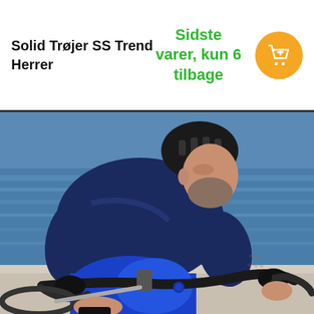Solid Trøjer SS Trend Herrer
Sidste varer, kun 6 tilbage
[Figure (photo): A male cyclist wearing a navy blue short-sleeve cycling jersey and blue bib shorts, leaning forward on drop handlebars of a road bike. He has a black helmet and a beard with tattoos on his arm. Blue water and stone surface visible in background.]